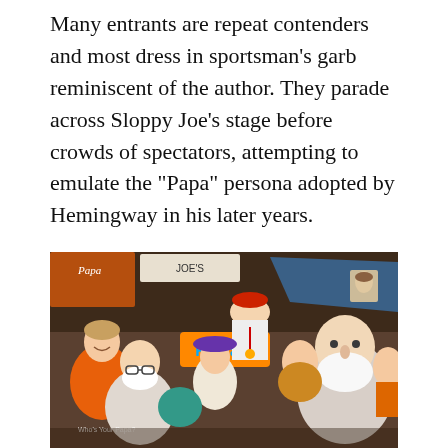Many entrants are repeat contenders and most dress in sportsman's garb reminiscent of the author. They parade across Sloppy Joe's stage before crowds of spectators, attempting to emulate the "Papa" persona adopted by Hemingway in his later years.
Contest judges are former winners including Wally Collins of Phoenix, Arizona, a white-bearded restaurateur who triumphed over rivals including his oldest son to take the 2014 title.
[Figure (photo): Crowd photo inside Sloppy Joe's bar showing multiple Hemingway look-alike contestants with white beards, supporters wearing orange t-shirts, colorful hats, signs including 'Richard', and a lively festive atmosphere.]